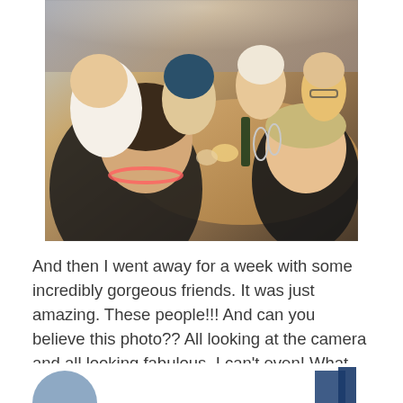[Figure (photo): Group photo of approximately 7 women seated around a restaurant table having a meal together. The woman in the foreground is taking a selfie, wearing a black floral top and colorful beaded necklace with dark hair. Other women are visible in the background around a table with food, drinks, glasses, and plates. The setting appears to be a casual restaurant or dining venue.]
And then I went away for a week with some incredibly gorgeous friends. It was just amazing. These people!!! And can you believe this photo?? All looking at the camera and all looking fabulous. I can't even! What an achievement in itself!!